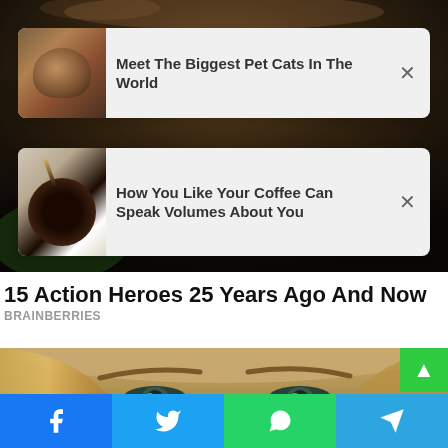[Figure (screenshot): Background image of a dark scene, partially visible at top]
Meet The Biggest Pet Cats In The World
How You Like Your Coffee Can Speak Volumes About You
15 Action Heroes 25 Years Ago And Now
BRAINBERRIES
[Figure (photo): Close-up of a woman's eyes and forehead, blonde hair]
[Figure (infographic): Social share bar with Facebook, Twitter, WhatsApp, Telegram buttons]